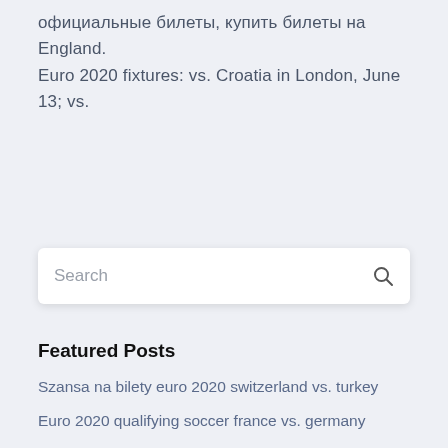официальные билеты, купить билеты на England. Euro 2020 fixtures: vs. Croatia in London, June 13; vs.
[Figure (other): Search bar widget with placeholder text 'Search' and a search icon on the right]
Featured Posts
Szansa na bilety euro 2020 switzerland vs. turkey
Euro 2020 qualifying soccer france vs. germany
Uefa qualifications euro 2020 belgium november 30th